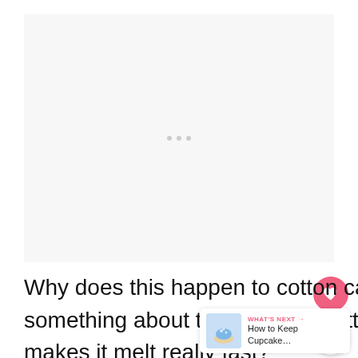[Figure (other): Blank advertisement placeholder area with three light gray dots indicating loading]
Why does this happen to cotton candy, though? Is there something about the way that cotton candy is made that makes it melt really fast?